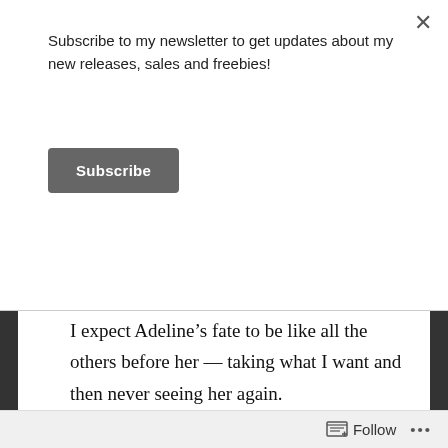Subscribe to my newsletter to get updates about my new releases, sales and freebies!
Subscribe
I expect Adeline’s fate to be like all the others before her — taking what I want and then never seeing her again.

But she’s different.

Her beauty is disarming.
Follow ...